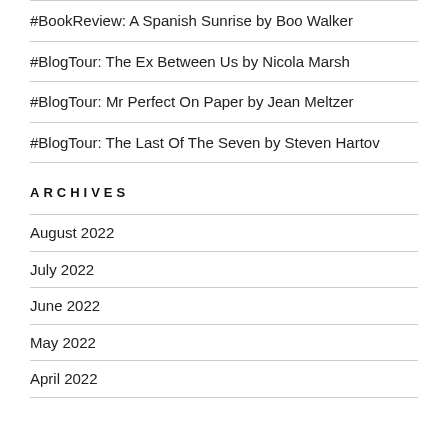#BookReview: A Spanish Sunrise by Boo Walker
#BlogTour: The Ex Between Us by Nicola Marsh
#BlogTour: Mr Perfect On Paper by Jean Meltzer
#BlogTour: The Last Of The Seven by Steven Hartov
ARCHIVES
August 2022
July 2022
June 2022
May 2022
April 2022